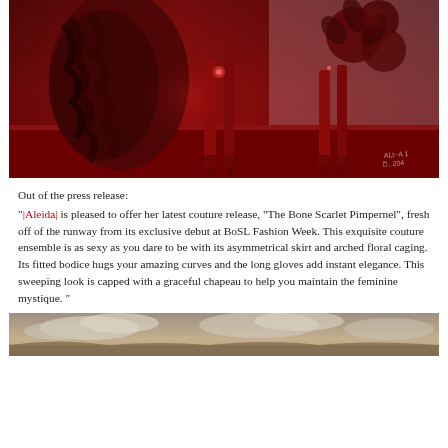[Figure (photo): Fashion photo of a red couture outfit with floral elements and high heels, deep crimson tones, with a watermark signature in the lower right corner]
Out of the press release:
"|Aleida| is pleased to offer her latest couture release, "The Bone Scarlet Pimpernel", fresh off of the runway from its exclusive debut at BoSL Fashion Week.  This exquisite couture ensemble is as sexy as you dare to be with its asymmetrical skirt and arched floral caging.  Its fitted bodice hugs your amazing curves and the long gloves add instant elegance.  This sweeping look is capped with a graceful chapeau to help you maintain the feminine mystique.  "
[Figure (photo): Partial outdoor scene with cloudy sky, sepia/warm tones, bottom of page cropped]